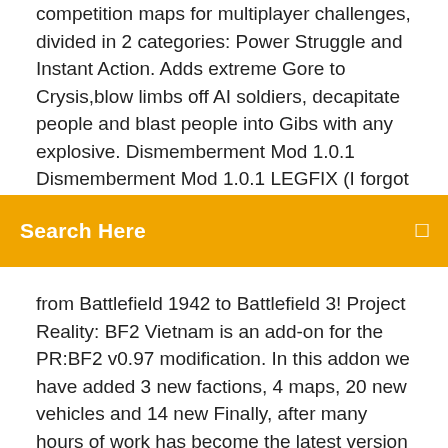competition maps for multiplayer challenges, divided in 2 categories: Power Struggle and Instant Action. Adds extreme Gore to Crysis,blow limbs off AI soldiers, decapitate people and blast people into Gibs with any explosive. Dismemberment Mod 1.0.1 Dismemberment Mod 1.0.1 LEGFIX (I forgot to disable some WIP particle effects ) Instalation: 1. Copy the
Search Here
from Battlefield 1942 to Battlefield 3! Project Reality: BF2 Vietnam is an add-on for the PR:BF2 v0.97 modification. In this addon we have added 3 new factions, 4 maps, 20 new vehicles and 14 new Finally, after many hours of work has become the latest version of Project Reality. A project in which my greatest intention was to improve the immersion of the game by adding more realistic colors, lighting and shadows better elaborate and a simple improvement in textures. I hope you like it and enjoy it How to install: - Download - Extract the folder wherever you